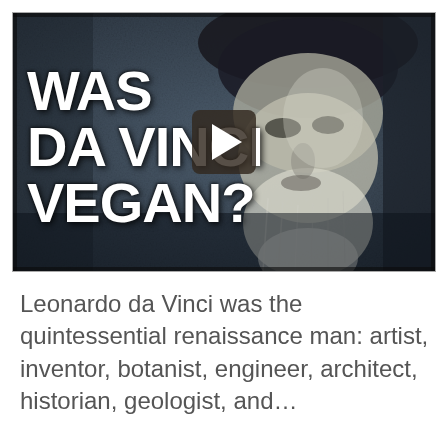[Figure (screenshot): Video thumbnail showing a grayscale portrait of Leonardo da Vinci with a beard and hat, overlaid with large white bold text 'WAS DA VINCI VEGAN?' on the left side and a play button in the center.]
Leonardo da Vinci was the quintessential renaissance man: artist, inventor, botanist, engineer, architect, historian, geologist, and…